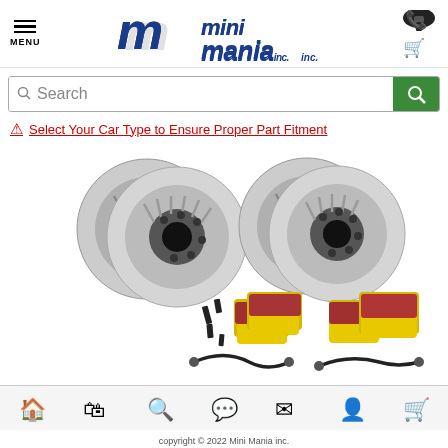[Figure (logo): Mini Mania Inc. logo with stylized blue italic text, a telephone icon, and shopping cart icon on the right]
Search
Select Your Car Type to Ensure Proper Part Fitment
[Figure (photo): Product photo showing four brake rotors (slotted discs), yellow and red brake pads with hardware, and brake lines/sensors for a Mini car]
copyright © 2022 Mini Mania inc.